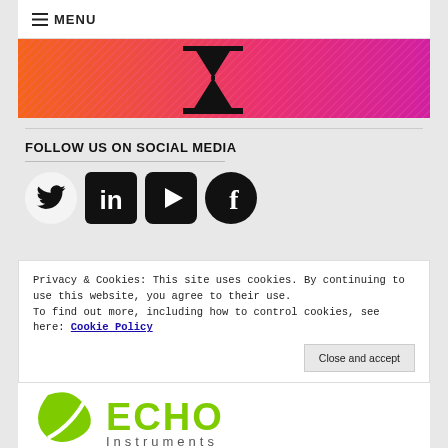≡ MENU
[Figure (illustration): Orange to pink gradient banner with a hourglass/wine glass icon silhouette]
FOLLOW US ON SOCIAL MEDIA
[Figure (illustration): Four social media icons: Twitter, LinkedIn, YouTube, Facebook]
Privacy & Cookies: This site uses cookies. By continuing to use this website, you agree to their use.
To find out more, including how to control cookies, see here: Cookie Policy
Close and accept
[Figure (logo): ECHO Instruments logo in bright green with a leaf motif]